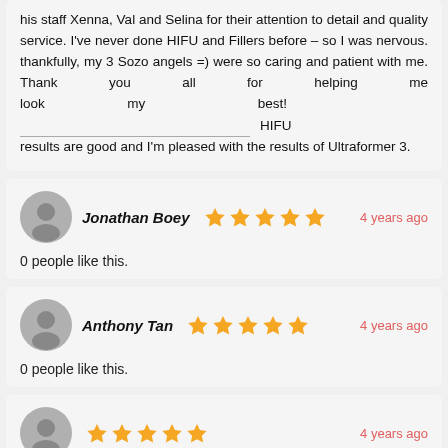Dr. Goldin gets many good reviews. But I would like to praise his staff Xenna, Val and Selina for their attention to detail and quality service. I've never done HIFU and Fillers before – so I was nervous. thankfully, my 3 Sozo angels =) were so caring and patient with me. Thank you all for helping me look my best! ___ HIFU results are good and I'm pleased with the results of Ultraformer 3.
Jonathan Boey — 4 years ago — 0 people like this.
Anthony Tan — 4 years ago — 0 people like this.